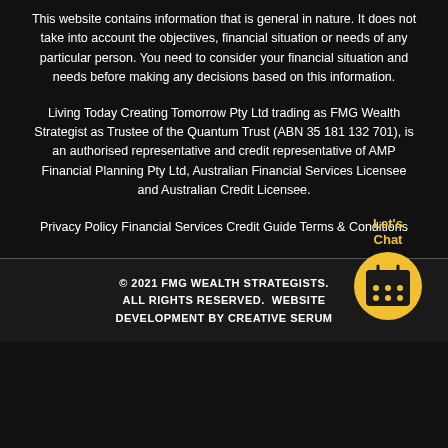This website contains information that is general in nature. It does not take into account the objectives, financial situation or needs of any particular person. You need to consider your financial situation and needs before making any decisions based on this information.
Living Today Creating Tomorrow Pty Ltd trading as FMG Wealth Strategist as Trustee of the Quantum Trust (ABN 35 181 132 701), is an authorised representative and credit representative of AMP Financial Planning Pty Ltd, Australian Financial Services Licensee and Australian Credit Licensee.
Privacy PolicyFinancial Services Credit GuideTerms & Conditions
© 2021 FMG WEALTH STRATEGISTS. ALL RIGHTS RESERVED. WEBSITE DEVELOPMENT BY CREATIVE SERUM
[Figure (illustration): Yellow circular calendar icon with chat/booking symbol, accompanied by 'Let's Chat' text in yellow]